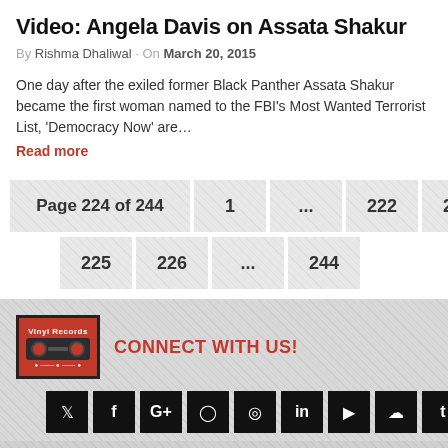Video: Angela Davis on Assata Shakur
By Rishma Dhaliwal · On March 20, 2015
One day after the exiled former Black Panther Assata Shakur became the first woman named to the FBI's Most Wanted Terrorist List, 'Democracy Now' are…
Read more
Page 224 of 244  1  ...  222  223  224  225  226  ...  244
CONNECT WITH US!
[Figure (logo): Vinyl Records logo with cassette tape image]
[Figure (infographic): Social media icon buttons: Twitter, Facebook, Google+, Instagram, Pinterest, LinkedIn, YouTube, SoundCloud, Tumblr]
[Figure (logo): Vinyl Records logo small version at bottom]